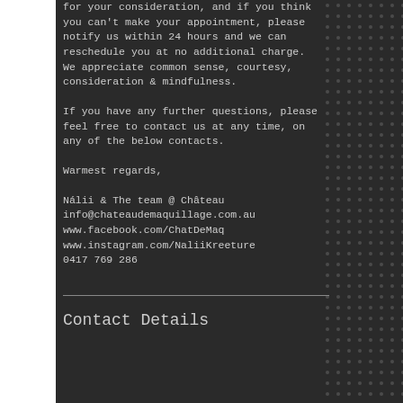for your consideration, and if you think you can't make your appointment, please notify us within 24 hours and we can reschedule you at no additional charge.
We appreciate common sense, courtesy, consideration & mindfulness.
If you have any further questions, please feel free to contact us at any time, on any of the below contacts.
Warmest regards,
Nálii & The team @ Château
info@chateaudemaquillage.com.au
www.facebook.com/ChatDeMaq
www.instagram.com/NaliiKreeture
0417 769 286
Contact Details